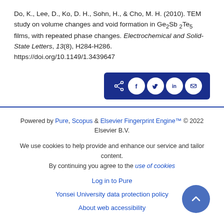Do, K., Lee, D., Ko, D. H., Sohn, H., & Cho, M. H. (2010). TEM study on volume changes and void formation in Ge2Sb 2Te5 films, with repeated phase changes. Electrochemical and Solid-State Letters, 13(8), H284-H286. https://doi.org/10.1149/1.3439647
[Figure (other): Social sharing button bar with share, Facebook, Twitter, LinkedIn, and email icons on a dark blue background]
Powered by Pure, Scopus & Elsevier Fingerprint Engine™ © 2022 Elsevier B.V.
We use cookies to help provide and enhance our service and tailor content. By continuing you agree to the use of cookies
Log in to Pure
Yonsei University data protection policy
About web accessibility